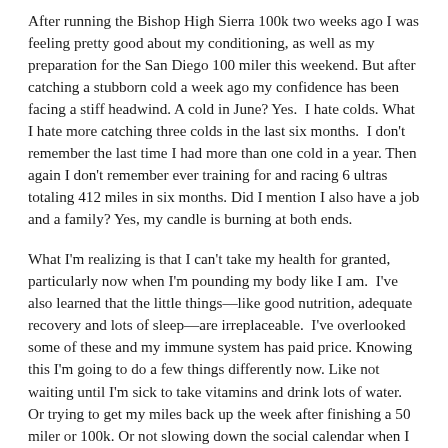After running the Bishop High Sierra 100k two weeks ago I was feeling pretty good about my conditioning, as well as my preparation for the San Diego 100 miler this weekend. But after catching a stubborn cold a week ago my confidence has been facing a stiff headwind. A cold in June? Yes.  I hate colds. What I hate more catching three colds in the last six months.  I don't remember the last time I had more than one cold in a year. Then again I don't remember ever training for and racing 6 ultras totaling 412 miles in six months. Did I mention I also have a job and a family? Yes, my candle is burning at both ends.
What I'm realizing is that I can't take my health for granted, particularly now when I'm pounding my body like I am.  I've also learned that the little things—like good nutrition, adequate recovery and lots of sleep—are irreplaceable.  I've overlooked some of these and my immune system has paid price. Knowing this I'm going to do a few things differently now. Like not waiting until I'm sick to take vitamins and drink lots of water. Or trying to get my miles back up the week after finishing a 50 miler or 100k. Or not slowing down the social calendar when I really need the sleep. All common sense stuff, but stuff that leads to common mistakes.